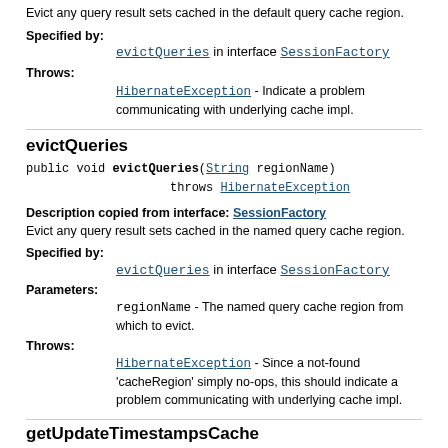Evict any query result sets cached in the default query cache region.
Specified by: evictQueries in interface SessionFactory
Throws: HibernateException - Indicate a problem communicating with underlying cache impl.
evictQueries
Description copied from interface: SessionFactory Evict any query result sets cached in the named query cache region.
Specified by: evictQueries in interface SessionFactory
Parameters: regionName - The named query cache region from which to evict.
Throws: HibernateException - Since a not-found 'cacheRegion' simply no-ops, this should indicate a problem communicating with underlying cache impl.
getUpdateTimestampsCache